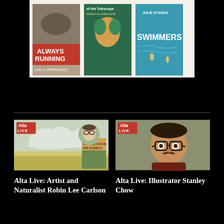[Figure (photo): Three book covers on a cream background: 'Always Running' by Luis J. Rodriguez, 'The Hakawati' by Rabih Alameddine (partially visible title about telescope), and 'The Swimmers' by Julie Otsuka]
[Figure (photo): Alta Live thumbnail: landscape painting with clouds, book cover 'The Cold Canyon Fire Journals', and portrait of Robin Lee Carlson with glasses. Alta Live badge in top-left corner.]
Alta Live: Artist and Naturalist Robin Lee Carlson
[Figure (photo): Alta Live thumbnail: animated/illustrated portrait of Stanley Chow, a man with glasses and mustache. Alta Live badge in top-left corner.]
Alta Live: Illustrator Stanley Chow